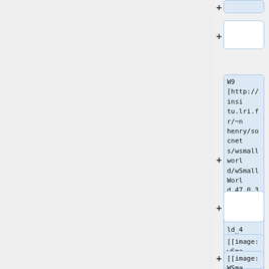+
+
W9
[http://insitu.lri.fr/~nhenry/socnets/wsmallworld/wSmallWorld_47_0.3_10.xml SmallWorld_47_0.3_10.xml]
+
[[image:wSmallWorld_47_0.3_10.JPG|150px]]
[[image:WSma